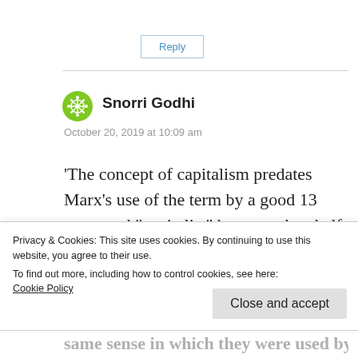Reply
[Figure (illustration): Green decorative avatar/icon for user Snorri Godhi]
Snorri Godhi
October 20, 2019 at 10:09 am
‘The concept of capitalism predates Marx’s use of the term by a good 13 years and “capitalist” by more than half a century.’
Privacy & Cookies: This site uses cookies. By continuing to use this website, you agree to their use.
To find out more, including how to control cookies, see here:
Cookie Policy
Close and accept
same sense in which they were used by